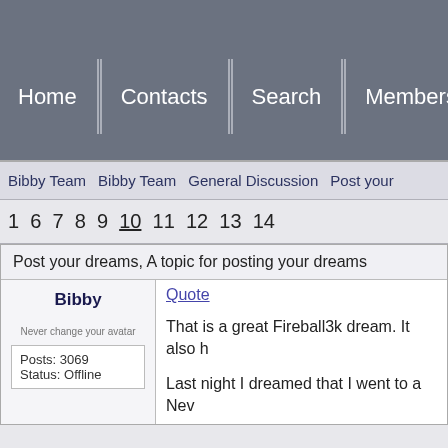Home | Contacts | Search | Members | Tic...
Bibby Team   Bibby Team   General Discussion   Post your...
1 6 7 8 9 10 11 12 13 14
Post your dreams, A topic for posting your dreams
Bibby
Never change your avatar
Posts: 3069
Status: Offline
Quote
That is a great Fireball3k dream. It also h...
Last night I dreamed that I went to a Nev...